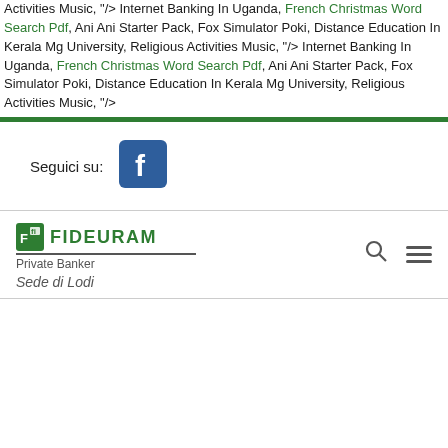Activities Music, "/> Internet Banking In Uganda, French Christmas Word Search Pdf, Ani Ani Starter Pack, Fox Simulator Poki, Distance Education In Kerala Mg University, Religious Activities Music, "/> Internet Banking In Uganda, French Christmas Word Search Pdf, Ani Ani Starter Pack, Fox Simulator Poki, Distance Education In Kerala Mg University, Religious Activities Music, "/>
[Figure (logo): Facebook logo icon (blue square with white 'f')]
Seguici su:
[Figure (logo): Fideuram Private Banker logo with Sede di Lodi text, search icon, and hamburger menu]
Nov 14, 2014 . Wedding thaali and other cool jewelry: The